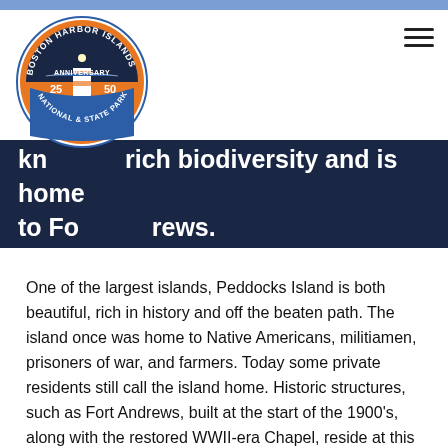[Figure (logo): Boston Harbor Islands National & State Park 25th Anniversary logo — circular badge with lighthouse, orange and blue colors]
kn... rich biodiversity and is home to Fo...rews.
One of the largest islands, Peddocks Island is both beautiful, rich in history and off the beaten path. The island once was home to Native Americans, militiamen, prisoners of war, and farmers. Today some private residents still call the island home. Historic structures, such as Fort Andrews, built at the start of the 1900's, along with the restored WWII-era Chapel, reside at this location. Peddocks Island is also rich in biodiversity and is home to wildlife such as deer and turkeys, making it a fun location to explore. Come enjoy a day of hiking, bird watching, or